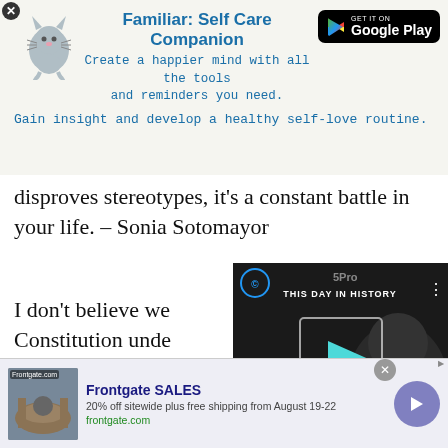[Figure (infographic): App advertisement banner for 'Familiar: Self Care Companion' with cat illustration and Google Play button. Title: Familiar: Self Care Companion. Subtitle: Create a happier mind with all the tools and reminders you need. Tagline: Gain insight and develop a healthy self-love routine.]
disproves stereotypes, it's a constant battle in your life. – Sonia Sotomayor
I don't believe we should Constitution unde what it says. We s Sotomayor
[Figure (screenshot): Video player overlay showing 'THIS DAY IN HISTORY' with a play button, AUGUST label, mute icon, progress bar with blue dot, and fullscreen icon. Dark background with a woman visible.]
There are uses to
[Figure (infographic): Bottom advertisement for Frontgate SALES. 20% off sitewide plus free shipping from August 19-22. frontgate.com. Shows outdoor furniture image with fire pit. Has close button and arrow button.]